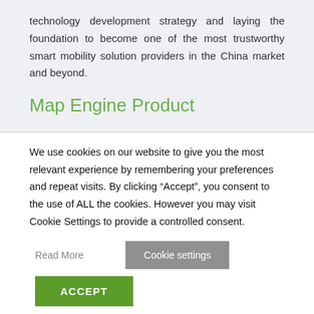technology development strategy and laying the foundation to become one of the most trustworthy smart mobility solution providers in the China market and beyond.
Map Engine Product
We use cookies on our website to give you the most relevant experience by remembering your preferences and repeat visits. By clicking “Accept”, you consent to the use of ALL the cookies. However you may visit Cookie Settings to provide a controlled consent.
Read More
Cookie settings
ACCEPT